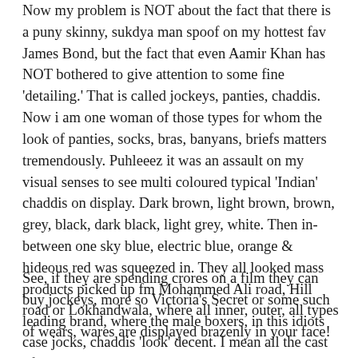Now my problem is NOT about the fact that there is a puny skinny, sukdya man spoof on my hottest fav James Bond, but the fact that even Aamir Khan has NOT bothered to give attention to some fine 'detailing.' That is called jockeys, panties, chaddis. Now i am one woman of those types for whom the look of panties, socks, bras, banyans, briefs matters tremendously. Puhleeez it was an assault on my visual senses to see multi coloured typical 'Indian' chaddis on display. Dark brown, light brown, brown, grey, black, dark black, light grey, white. Then in-between one sky blue, electric blue, orange & hideous red was squeezed in. They all looked mass products picked up fm Mohammed Ali road, Hill road or Lokhandwala, where all inner, outer, all types of wears, wares are displayed brazenly in your face!
See, if they are spending crores on a film they can buy jockeys, more so Victoria's Secret or some such leading brand, where the male boxers, in this idiots case jocks, chaddis 'look' decent. I mean all the cast of whatever background were shown to